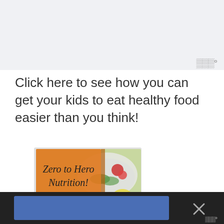[Figure (other): Light grey/blue top background area]
ш°
Click here to see how you can get your kids to eat healthy food easier than you think!
[Figure (illustration): Book cover showing 'Zero to Hero Nutrition! How to' text on an orange background with a superhero icon, with a salad bowl visible behind it]
[Figure (other): Bottom black bar with blue button and close X button, and Mailmunch logo]